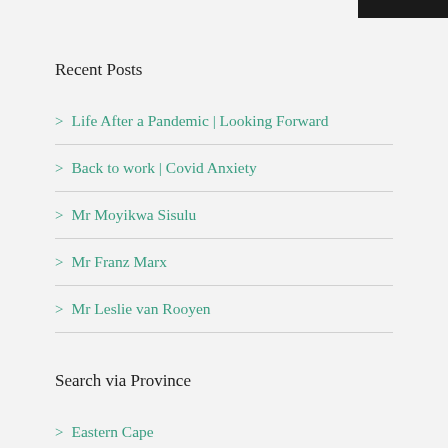Recent Posts
Life After a Pandemic | Looking Forward
Back to work | Covid Anxiety
Mr Moyikwa Sisulu
Mr Franz Marx
Mr Leslie van Rooyen
Search via Province
Eastern Cape